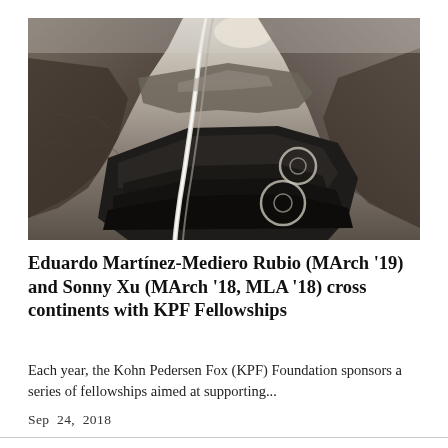[Figure (photo): Aerial photograph of a winding road cutting through rocky, terraced mountainous terrain with dramatic lighting from the sun on the horizon. Dark rocky landscape with curved patterns on the ground.]
Eduardo Martínez-Mediero Rubio (MArch '19) and Sonny Xu (MArch '18, MLA '18) cross continents with KPF Fellowships
Each year, the Kohn Pedersen Fox (KPF) Foundation sponsors a series of fellowships aimed at supporting...
Sep 24, 2018